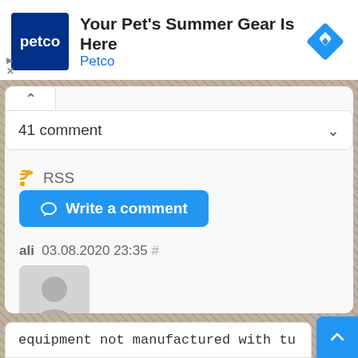[Figure (screenshot): Petco advertisement banner with logo, title 'Your Pet's Summer Gear Is Here', brand name 'Petco', and a blue diamond navigation icon]
41 comment
RSS
Write a comment
ali  03.08.2020 23:35  #
[Figure (illustration): Default user avatar silhouette on grey background]
equipment not manufactured with tu